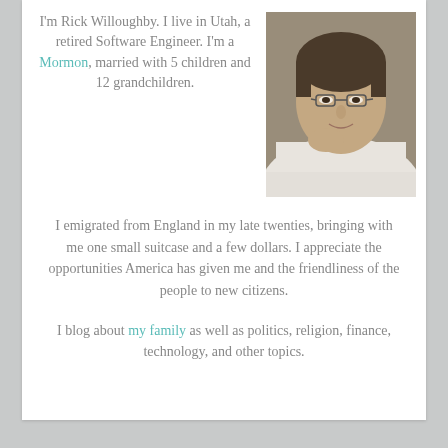I'm Rick Willoughby. I live in Utah, a retired Software Engineer. I'm a Mormon, married with 5 children and 12 grandchildren.
[Figure (photo): Photo of a middle-aged man with glasses, wearing a white shirt, resting his chin on his hand, looking at the camera.]
I emigrated from England in my late twenties, bringing with me one small suitcase and a few dollars. I appreciate the opportunities America has given me and the friendliness of the people to new citizens.
I blog about my family as well as politics, religion, finance, technology, and other topics.